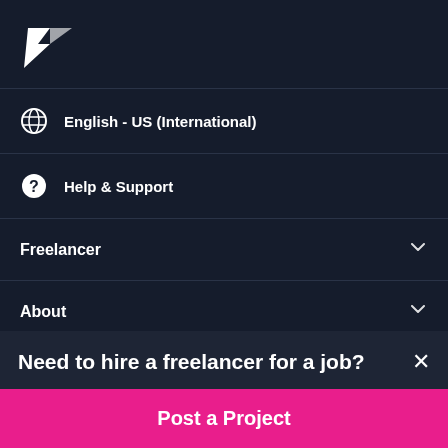[Figure (logo): Freelancer.com logo - white stylized bird/arrow icon]
English - US (International)
Help & Support
Freelancer
About
Terms
Need to hire a freelancer for a job?
Post a Project